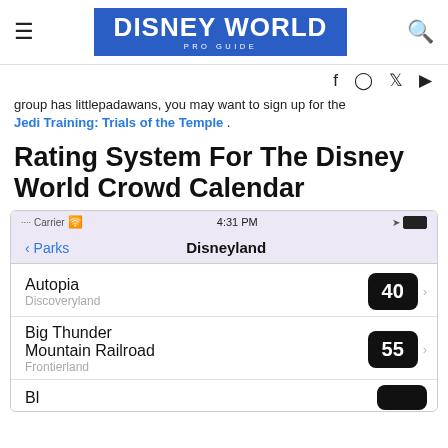DISNEY WORLD PRO GUIDE
group has littlepadawans, you may want to sign up for the Jedi Training: Trials of the Temple .
Rating System For The Disney World Crowd Calendar
[Figure (screenshot): Mobile app screenshot showing Disneyland park wait times: Autopia (Discoveryland) 40 min, Big Thunder Mountain Railroad (Frontierland) 55 min, partial third ride visible]